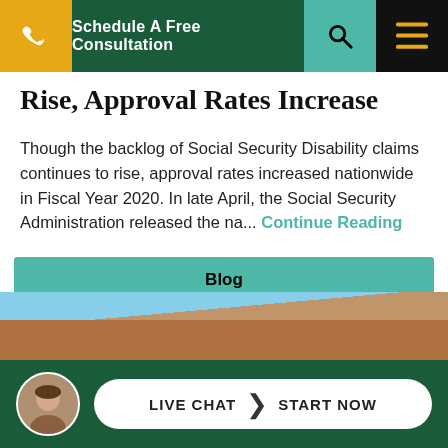Schedule A Free Consultation
Rise, Approval Rates Increase
Though the backlog of Social Security Disability claims continues to rise, approval rates increased nationwide in Fiscal Year 2020. In late April, the Social Security Administration released the na... Continue Reading
Blog
Share
[Figure (photo): Building exterior with brick wall and blue sky, with live chat overlay bar at bottom]
LIVE CHAT | START NOW